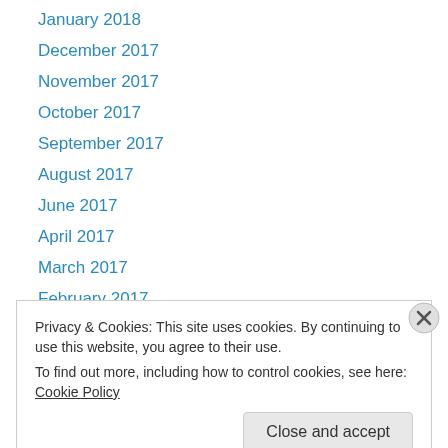January 2018
December 2017
November 2017
October 2017
September 2017
August 2017
June 2017
April 2017
March 2017
February 2017
December 2016
November 2016
October 2016
Privacy & Cookies: This site uses cookies. By continuing to use this website, you agree to their use. To find out more, including how to control cookies, see here: Cookie Policy
Close and accept